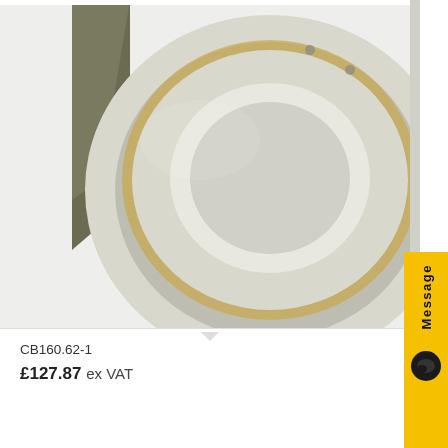[Figure (photo): Product photo of a centrifugal fan/blower unit, beige/cream colored with a round central motor housing and metal mounting bracket, against a white background]
CB160.62-1
£127.87 ex VAT
Add to basket
Show Details
This site uses cookies. By continuing to browse the site, you are agreeing to our use of cookies.
OK
Learn more